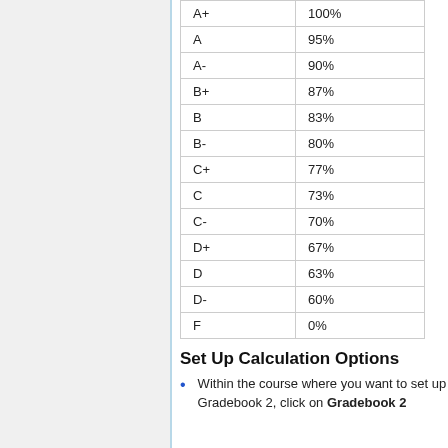| A+ | 100% |
| A | 95% |
| A- | 90% |
| B+ | 87% |
| B | 83% |
| B- | 80% |
| C+ | 77% |
| C | 73% |
| C- | 70% |
| D+ | 67% |
| D | 63% |
| D- | 60% |
| F | 0% |
Set Up Calculation Options
Within the course where you want to set up Gradebook 2, click on Gradebook 2